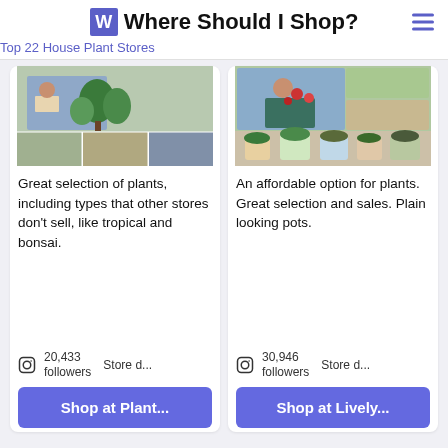Where Should I Shop?
Top 22 House Plant Stores
[Figure (photo): Photo collage of a person reading near houseplants and a shelf of small plants]
Great selection of plants, including types that other stores don't sell, like tropical and bonsai.
20,433 followers   Store d...
Shop at Plant...
[Figure (photo): Photo collage of a person arranging flowers and various potted plants]
An affordable option for plants. Great selection and sales. Plain looking pots.
30,946 followers   Store d...
Shop at Lively...